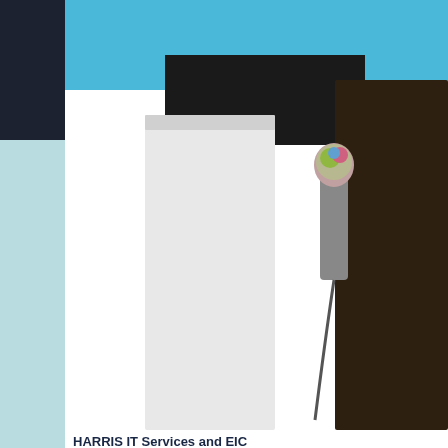[Figure (screenshot): Video thumbnail showing two people, one in white shirt and one in dark shirt holding a microphone, with a dark background screen. This is a YouTube-style video thumbnail.]
HARRIS IT Services and EIC
9,815 views | 8 years ago
[Figure (screenshot): Partial view of a book or event poster with teal bold text reading 'WOMEN A... INTERSECT... AND ...' and olive/gold italic text reading 'Harnessing the Ne... A Distinguished...' on a light gray/white background.]